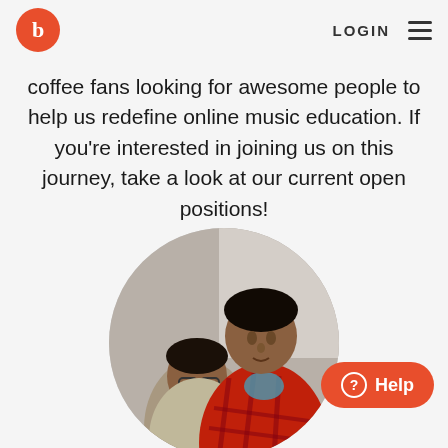LOGIN
coffee fans looking for awesome people to help us redefine online music education. If you're interested in joining us on this journey, take a look at our current open positions!
[Figure (photo): Circular cropped photo of two young men outdoors, one wearing glasses and a light shirt, the other facing the camera wearing a red plaid shirt.]
Help